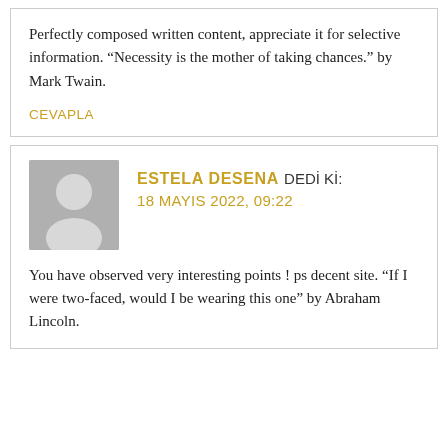Perfectly composed written content, appreciate it for selective information. “Necessity is the mother of taking chances.” by Mark Twain.
CEVAPLA
ESTELA DESENA DEDİ Kİ: 18 MAYIS 2022, 09:22
You have observed very interesting points ! ps decent site. “If I were two-faced, would I be wearing this one” by Abraham Lincoln.